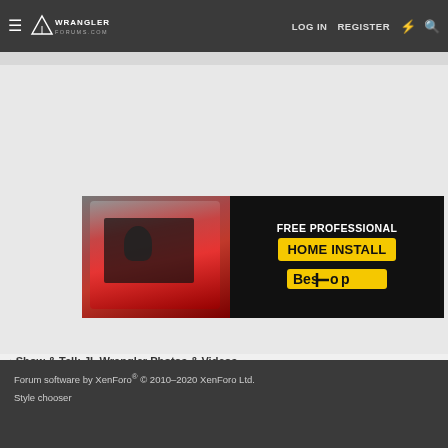LOG IN  REGISTER
[Figure (screenshot): Bestop advertisement banner showing a red Jeep Wrangler with open top, text reads FREE PROFESSIONAL HOME INSTALL with Bestop logo in yellow]
< Show & Tell: JL Wrangler Photos & Videos
Forum software by XenForo® © 2010-2020 XenForo Ltd.
Style chooser